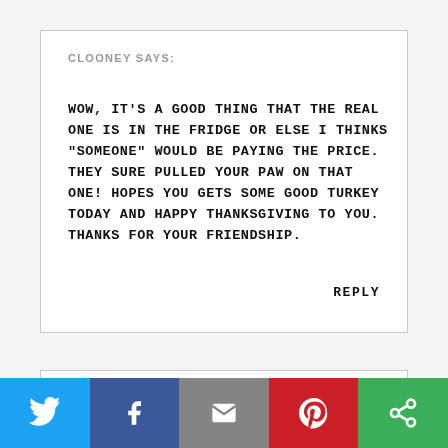CLOONEY SAYS:
WOW, IT'S A GOOD THING THAT THE REAL ONE IS IN THE FRIDGE OR ELSE I THINKS "SOMEONE" WOULD BE PAYING THE PRICE. THEY SURE PULLED YOUR PAW ON THAT ONE! HOPES YOU GETS SOME GOOD TURKEY TODAY AND HAPPY THANKSGIVING TO YOU. THANKS FOR YOUR FRIENDSHIP.
REPLY
GIGI SAYS: